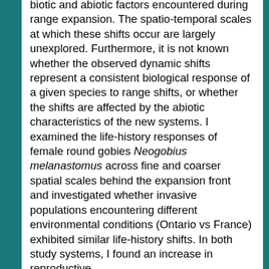biotic and abiotic factors encountered during range expansion. The spatio-temporal scales at which these shifts occur are largely unexplored. Furthermore, it is not known whether the observed dynamic shifts represent a consistent biological response of a given species to range shifts, or whether the shifts are affected by the abiotic characteristics of the new systems. I examined the life-history responses of female round gobies Neogobius melanastomus across fine and coarser spatial scales behind the expansion front and investigated whether invasive populations encountering different environmental conditions (Ontario vs France) exhibited similar life-history shifts. In both study systems, I found an increase in reproductive